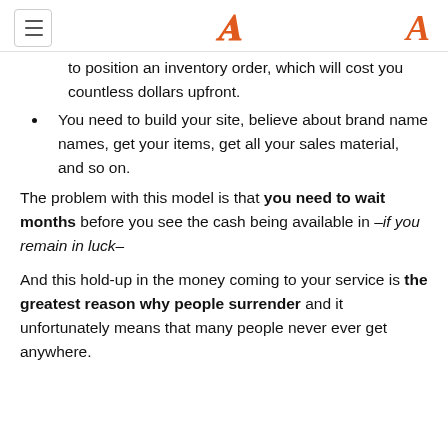≡ [menu icon]  A [logo]
to position an inventory order, which will cost you countless dollars upfront.
You need to build your site, believe about brand name names, get your items, get all your sales material, and so on.
The problem with this model is that you need to wait months before you see the cash being available in –if you remain in luck–
And this hold-up in the money coming to your service is the greatest reason why people surrender and it unfortunately means that many people never ever get anywhere.